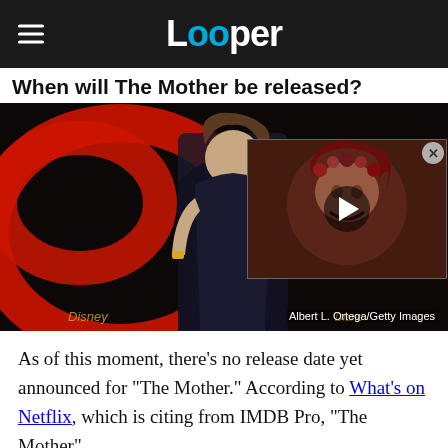Looper
When will The Mother be released?
[Figure (photo): A woman in a dark dress standing in front of a movie backdrop with red swirl graphics. Photo credit: Albert L. Ortega/Getty Images. A video thumbnail overlay shows a woman with red hair and floral crown.]
Albert L. Ortega/Getty Images
As of this moment, there's no release date yet announced for "The Mother." According to What's on Netflix, which is citing from IMDB Pro, "The Mother"